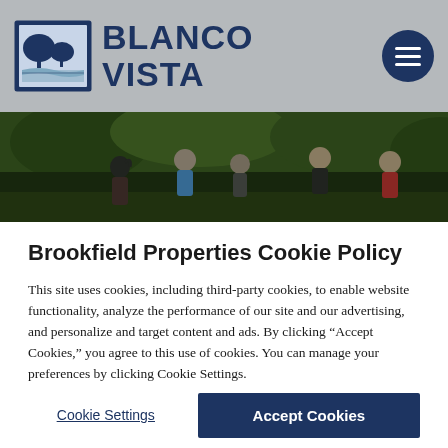BLANCO VISTA
[Figure (photo): Children playing outdoors on grass, blurred background of green foliage]
Brookfield Properties Cookie Policy
This site uses cookies, including third-party cookies, to enable website functionality, analyze the performance of our site and our advertising, and personalize and target content and ads. By clicking “Accept Cookies,” you agree to this use of cookies. You can manage your preferences by clicking Cookie Settings.
Why We Use Cookies ►
Cookie Settings
Accept Cookies